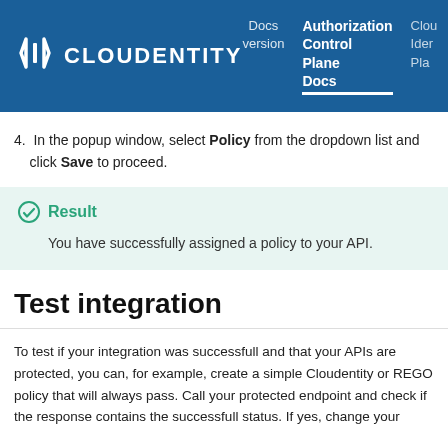CLOUDENTITY | Docs version | Authorization Control Plane Docs | Cloud Identity Plan...
4. In the popup window, select Policy from the dropdown list and click Save to proceed.
Result
You have successfully assigned a policy to your API.
Test integration
To test if your integration was successfull and that your APIs are protected, you can, for example, create a simple Cloudentity or REGO policy that will always pass. Call your protected endpoint and check if the response contains the successfull status. If yes, change your